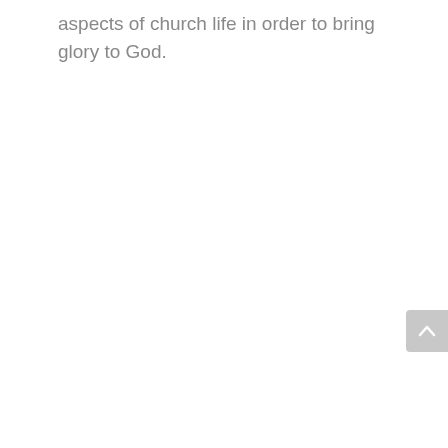aspects of church life in order to bring glory to God.
[Figure (other): A scroll-to-top button partially visible at the right edge of the page, showing a gray rounded rectangle with an upward-pointing chevron arrow.]